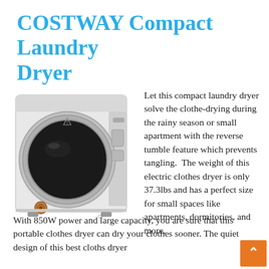COSTWAY Compact Laundry Dryer
[Figure (photo): COSTWAY compact laundry dryer appliance, white rectangular unit with large circular drum door, knob control, small buttons on the right side panel]
Let this compact laundry dryer solve the clothe-drying during the rainy season or small apartment with the reverse tumble feature which prevents tangling.  The weight of this electric clothes dryer is only 37.3lbs and has a perfect size for small spaces like apartments, dormitories, and more.
With 850W power and large capacity, you are sur that this portable clothes dryer can dry your clot sooner. The quiet design of this best cloths dryer